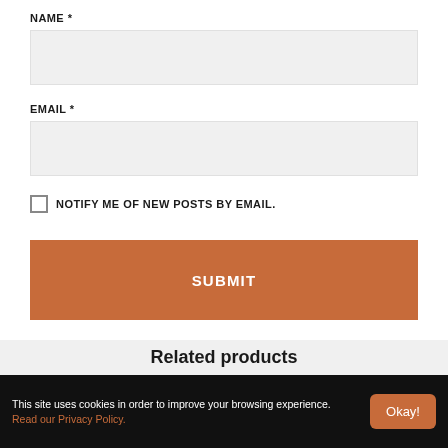NAME *
[Figure (other): Name text input field (light gray background)]
EMAIL *
[Figure (other): Email text input field (light gray background)]
NOTIFY ME OF NEW POSTS BY EMAIL.
[Figure (other): Submit button with orange/brown background and white text SUBMIT]
Related products
This site uses cookies in order to improve your browsing experience. Read our Privacy Policy.